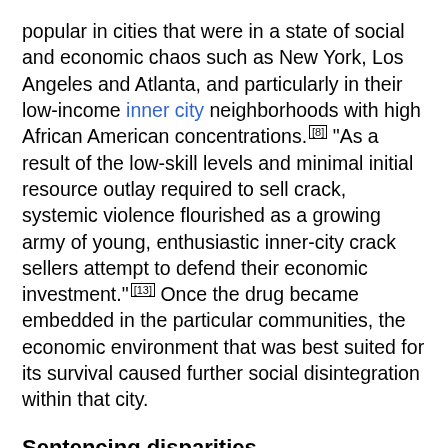popular in cities that were in a state of social and economic chaos such as New York, Los Angeles and Atlanta, and particularly in their low-income inner city neighborhoods with high African American concentrations.[8] "As a result of the low-skill levels and minimal initial resource outlay required to sell crack, systemic violence flourished as a growing army of young, enthusiastic inner-city crack sellers attempt to defend their economic investment."[13] Once the drug became embedded in the particular communities, the economic environment that was best suited for its survival caused further social disintegration within that city.
Sentencing disparities
In 1986, the U.S. Congress passed laws that created a 100 to 1 sentencing disparity for the possession or trafficking of crack when